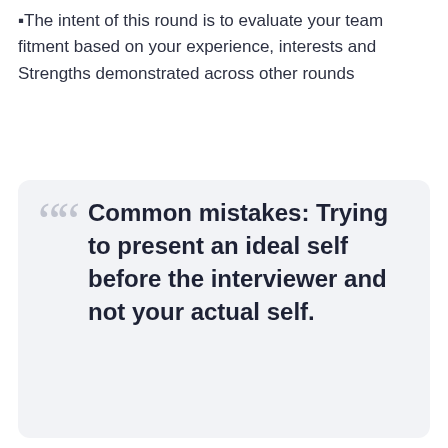The intent of this round is to evaluate your team fitment based on your experience, interests and Strengths demonstrated across other rounds
Common mistakes: Trying to present an ideal self before the interviewer and not your actual self.